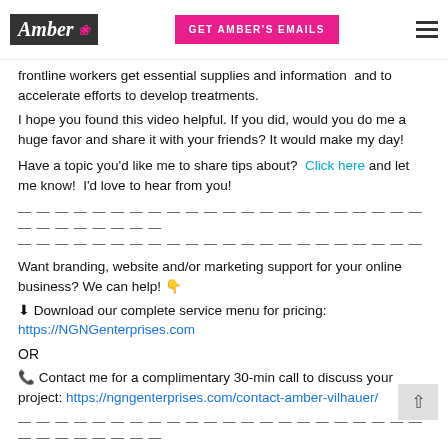Amber [logo] | GET AMBER'S EMAILS | [menu]
frontline workers get essential supplies and information — and to accelerate efforts to develop [treatments].
I hope you found this video helpful. If you did, would you do me a huge favor and share it with your friends? It would make my day!
Have a topic you'd like me to share tips about?  Click here and let me know!  I'd love to hear from you!
— — — — — — — — — — — — — — — — — — — — — — — — — — — — — —
— — — — — — — — — — — — — — — — — — — — —
Want branding, website and/or marketing support for your online business? We can help! 👇
⬇ Download our complete service menu for pricing:
https://NGNGenterprises.com
OR
📞 Contact me for a complimentary 30-min call to discuss your project: https://ngngenterprises.com/contact-amber-vilhauer/
— — — — — — — — — — — — — — — — — — — — — — — — — — — — — —
— — — — — — — — — — — — — — — — — — — — —
💡 :: Want to Maximize Your Leverage to Scale Your Business? :: 💡